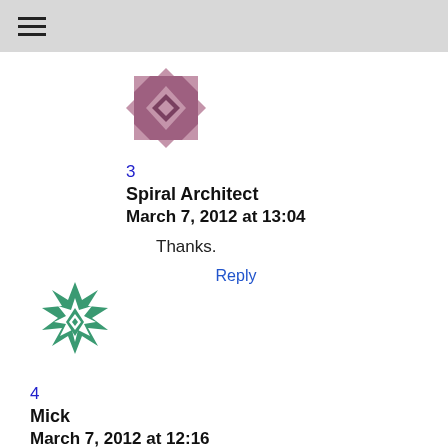☰
[Figure (illustration): Purple/mauve quilted geometric pattern avatar icon for user Spiral Architect]
3
Spiral Architect
March 7, 2012 at 13:04
Thanks.
Reply
[Figure (illustration): Green geometric snowflake/star pattern avatar icon for user Mick]
4
Mick
March 7, 2012 at 12:16